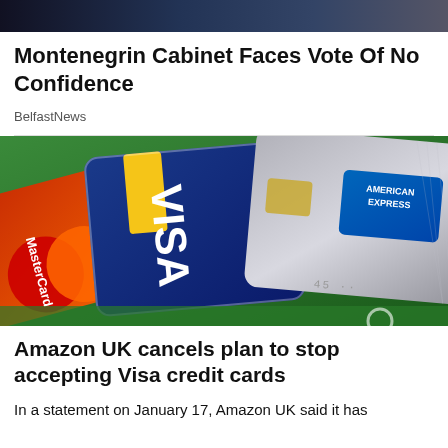[Figure (photo): Dark news website header banner at the top of the page]
Montenegrin Cabinet Faces Vote Of No Confidence
BelfastNews
[Figure (photo): Close-up photo of three credit cards fanned out: MasterCard (red/orange), Visa (blue), and American Express (silver/gray)]
Amazon UK cancels plan to stop accepting Visa credit cards
In a statement on January 17, Amazon UK said it has